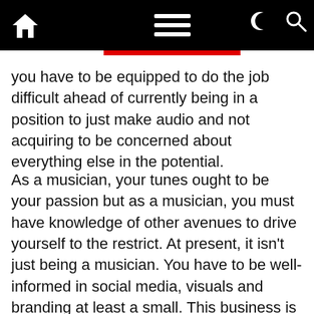[navigation bar with home icon, menu icon, dark mode icon, search icon]
you have to be equipped to do the job difficult ahead of currently being in a position to just make audio and not acquiring to be concerned about everything else in the potential.
As a musician, your tunes ought to be your passion but as a musician, you must have knowledge of other avenues to drive yourself to the restrict. At present, it isn't just being a musician. You have to be well-informed in social media, visuals and branding at least a small. This business is incredibly aggressive, and it is extremely prevalent that you see a person artist remaining their very own producer, engineer, graphic artist, editor and extra. There are a whole lot of steps to have your head in the suitable path as a innovative, but being aware of what to do before a launch is a excellent start.